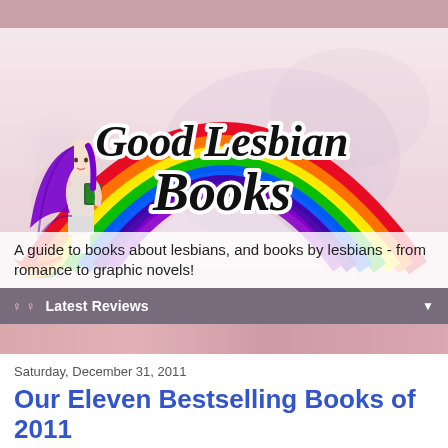[Figure (illustration): Good Lesbian Books website banner with rainbow arc, illustrated woman with purple hair holding a book, and bold italic text 'Good Lesbian Books' in black with white outline on a pink/lavender watercolor background]
A guide to books about lesbians, and books by lesbians - from romance to graphic novels!
♀ ♀  Latest Reviews
Saturday, December 31, 2011
Our Eleven Bestselling Books of 2011